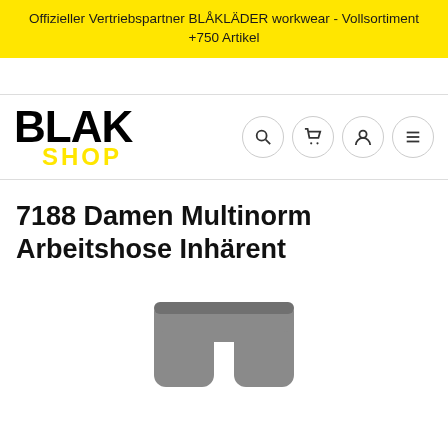Offizieller Vertriebspartner BLÅKLÄDER workwear - Vollsortiment +750 Artikel
[Figure (logo): BLAK SHOP logo — BLAK in large bold black text, SHOP in large bold yellow text below]
[Figure (infographic): Navigation icons: search, cart, user, menu — four circular outlined buttons]
7188 Damen Multinorm Arbeitshose Inhärent
[Figure (photo): Partial photo of grey work trousers at the bottom of the page]